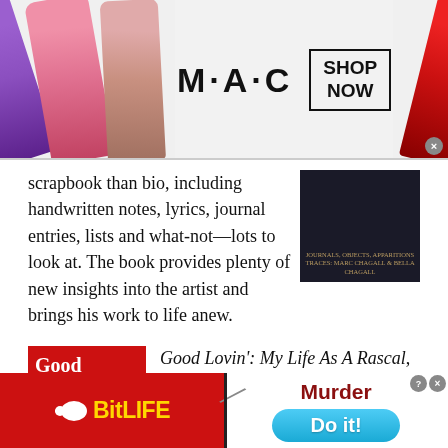[Figure (advertisement): MAC Cosmetics advertisement banner showing colorful lipsticks (purple, pink, nude, red) with MAC logo and SHOP NOW button]
scrapbook than bio, including handwritten notes, lyrics, journal entries, lists and what-not—lots to look at. The book provides plenty of new insights into the artist and brings his work to life anew.
[Figure (photo): Book cover photo showing dark/black and white image, appears to be a book about journals and objects]
[Figure (photo): Book cover of Good Lovin': My Life As A Rascal by Gene Cornish - red cover with white text showing title and author]
Good Lovin': My Life As A Rascal, by Gene Cornish
The title is self-explanatory: the Rascals' guitarist, a founding member of one of the greatest of
[Figure (advertisement): BitLife game advertisement on left side with red background showing BitLife logo in yellow text with sperm mascot icon]
[Figure (advertisement): Murder game advertisement on right side showing Murder title and Do it! button in blue]